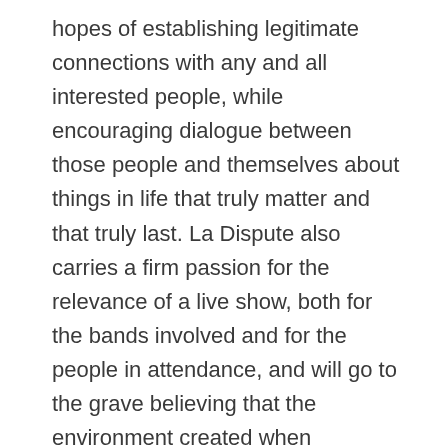hopes of establishing legitimate connections with any and all interested people, while encouraging dialogue between those people and themselves about things in life that truly matter and that truly last. La Dispute also carries a firm passion for the relevance of a live show, both for the bands involved and for the people in attendance, and will go to the grave believing that the environment created when strangers come together despite their differences to celebrate one important thing is invaluable and should not under any circumstances be taken for granted.
As previously announced, La Dispute will release a revamped 10-year anniversary edition of their breakthrough debut full-length Somewhere at the